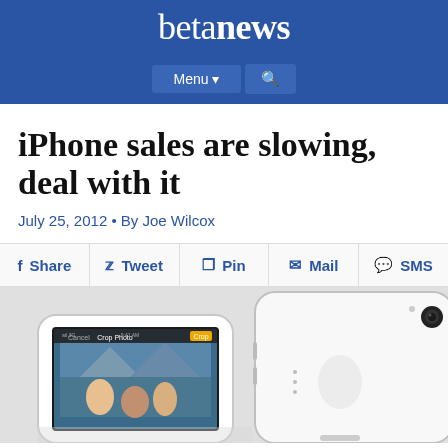betanews
iPhone sales are slowing, deal with it
July 25, 2012 • By Joe Wilcox
Share Tweet Pin Mail SMS
[Figure (photo): Two white iPhones shown at angles, one displaying a Crop Photo screen with a landscape photo of people.]